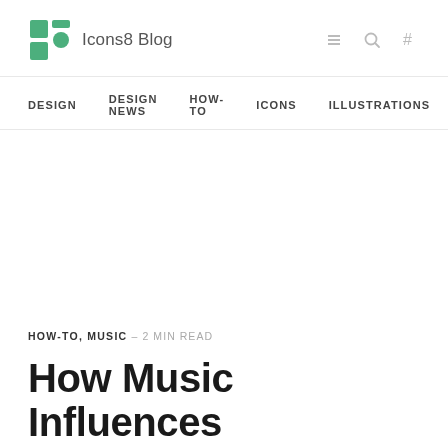Icons8 Blog
DESIGN  DESIGN NEWS  HOW-TO  ICONS  ILLUSTRATIONS
HOW-TO, MUSIC — 2 MIN READ
How Music Influences Perception of Your